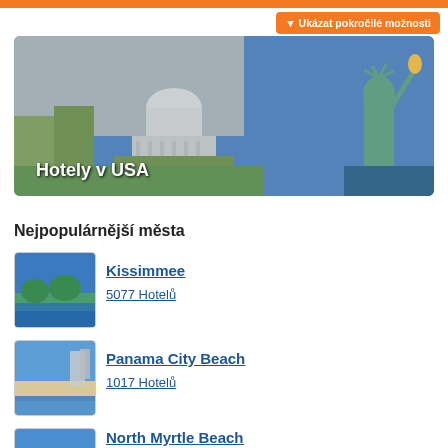[Figure (photo): Orange navigation bar at top of page]
▼ Ukázat pokročilé možnosti
[Figure (photo): Banner photo showing US Capitol building and Statue of Liberty with text 'Hotely v USA']
Nejpopulárnější města
[Figure (photo): Thumbnail of Kissimmee cityscape]
Kissimmee
5077 Hotelů
[Figure (photo): Thumbnail of Panama City Beach]
Panama City Beach
1017 Hotelů
[Figure (photo): Thumbnail of North Myrtle Beach]
North Myrtle Beach